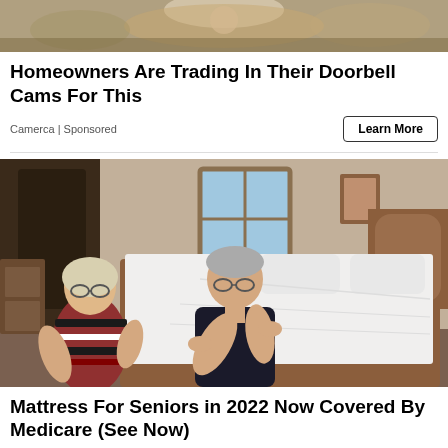[Figure (photo): Close-up photo of a doorbell camera or animal face, cropped at top]
Homeowners Are Trading In Their Doorbell Cams For This
Camerca | Sponsored
Learn More
[Figure (photo): Elderly couple standing next to a bed with a white mattress in a bedroom. Woman on left wearing striped red/black shirt, man on right in dark polo shirt leaning on bed.]
Mattress For Seniors in 2022 Now Covered By Medicare (See Now)